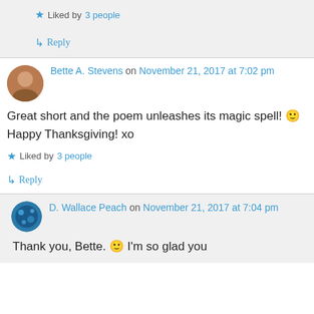Liked by 3 people
↳ Reply
Bette A. Stevens on November 21, 2017 at 7:02 pm
Great short and the poem unleashes its magic spell! 🙂 Happy Thanksgiving! xo
Liked by 3 people
↳ Reply
D. Wallace Peach on November 21, 2017 at 7:04 pm
Thank you, Bette. 🙂 I'm so glad you